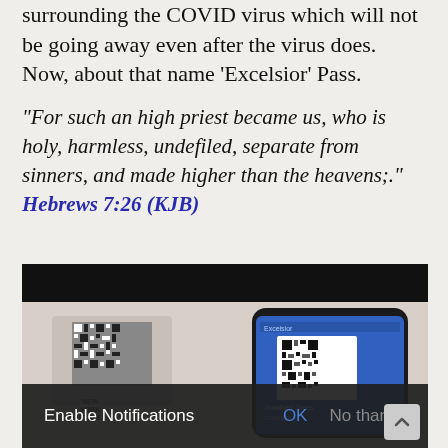This is about the global tracking system surrounding the COVID virus which will not be going away even after the virus does. Now, about that name ‘Excelsior’ Pass.
“For such an high priest became us, who is holy, harmless, undefiled, separate from sinners, and made higher than the heavens;.” Hebrews 7:26 (KJB)
[Figure (photo): Photo showing a hand holding a smartphone displaying a blue Excelsior Pass screen with a QR code and the name Jonathan Jones with date 7/20/1973, alongside a physical card with a QR code and New York State branding. A notification bar reads 'Enable Notifications OK No thanks'.]